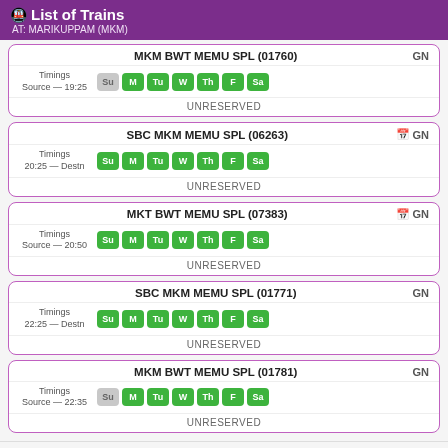List of Trains AT: MARIKUPPAM (MKM)
| Train Name | Days | Timings | Class |
| --- | --- | --- | --- |
| MKM BWT MEMU SPL (01760) | Su M Tu W Th F Sa | Source — 19:25 | GN |
| SBC MKM MEMU SPL (06263) | Su M Tu W Th F Sa | 20:25 — Destn | GN |
| MKT BWT MEMU SPL (07383) | Su M Tu W Th F Sa | Source — 20:50 | GN |
| SBC MKM MEMU SPL (01771) | Su M Tu W Th F Sa | 22:25 — Destn | GN |
| MKM BWT MEMU SPL (01781) | Su M Tu W Th F Sa | Source — 22:35 | GN |
Help | Contact Us | About ©2022 Trippozo.